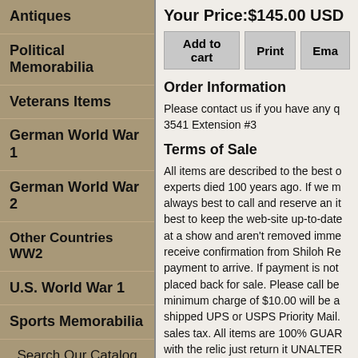Antiques
Political Memorabilia
Veterans Items
German World War 1
German World War 2
Other Countries WW2
U.S. World War 1
Sports Memorabilia
Search Our Catalog
Search
oC| Passed .
Your Price:$145.00 USD
Add to cart   Print   Ema
Order Information
Please contact us if you have any q 3541 Extension #3
Terms of Sale
All items are described to the best o experts died 100 years ago. If we m always best to call and reserve an it best to keep the web-site up-to-date at a show and aren't removed imme receive confirmation from Shiloh Re payment to arrive. If payment is not placed back for sale. Please call be minimum charge of $10.00 will be a shipped UPS or USPS Priority Mail. sales tax. All items are 100% GUAR with the relic just return it UNALTER